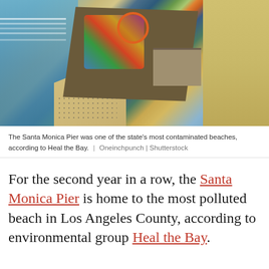[Figure (photo): Aerial view of the Santa Monica Pier showing amusement rides, ferris wheel, crowds of people, surrounded by ocean water on the left and sandy beaches on the right and bottom]
The Santa Monica Pier was one of the state's most contaminated beaches, according to Heal the Bay.  |  Oneinchpunch | Shutterstock
For the second year in a row, the Santa Monica Pier is home to the most polluted beach in Los Angeles County, according to environmental group Heal the Bay.